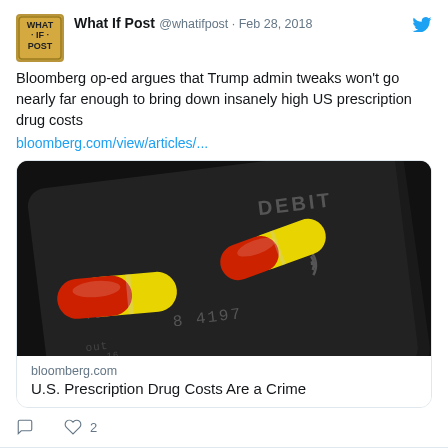[Figure (screenshot): Tweet from What If Post (@whatifpost) dated Feb 28, 2018, with a link card showing a debit card with red and yellow capsule pills on it, from bloomberg.com. Article title: U.S. Prescription Drug Costs Are a Crime]
What If Post @whatifpost · Feb 28, 2018
Bloomberg op-ed argues that Trump admin tweaks won't go nearly far enough to bring down insanely high US prescription drug costs
bloomberg.com/view/articles/...
bloomberg.com
U.S. Prescription Drug Costs Are a Crime
♡ 2
What If Post Retweeted